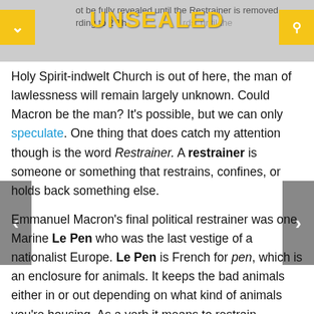UNSEALED — not be fully revealed until the Restrainer is removed rding to 2 Th... rds, until the
Holy Spirit-indwelt Church is out of here, the man of lawlessness will remain largely unknown.  Could Macron be the man?  It's possible, but we can only speculate.  One thing that does catch my attention though is the word Restrainer.  A restrainer is someone or something that restrains, confines, or holds back something else.
Emmanuel Macron's final political restrainer was one Marine Le Pen who was the last vestige of a nationalist Europe.  Le Pen is French for pen, which is an enclosure for animals.  It keeps the bad animals either in or out depending on what kind of animals you're housing.  As a verb it means to restrain someone or something.